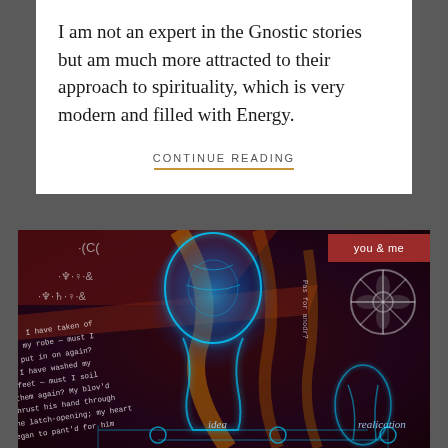I am not an expert in the Gnostic stories but am much more attracted to their approach to spirituality, which is very modern and filled with Energy.
CONTINUE READING
[Figure (illustration): A mystical digital illustration showing a glowing blue human figure/head silhouette against a dark background with handwritten text, esoteric symbols (planetary symbols, cross), golden energy lines, and labels including 'idea', 'realication', and 'you & me' badge in red.]